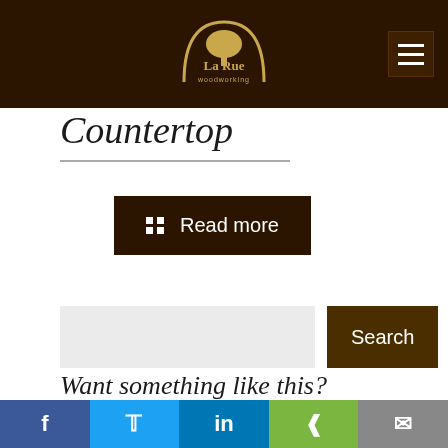LaRue Woodworking
Countertop
Read more
Search
Want something like this?
LaRue Woodworking crafts their products to your specific needs. Let us know what you're looking for and